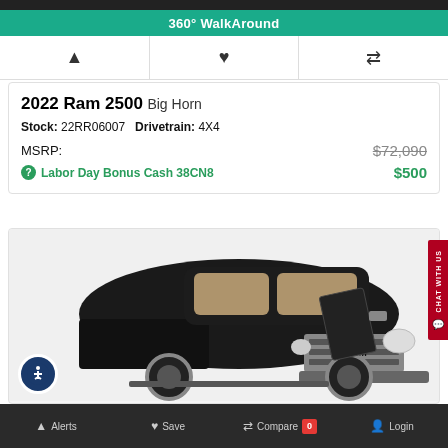360° WalkAround
[Figure (screenshot): Three icons row: bell/alert icon, heart/save icon, compare/filter icon]
2022 Ram 2500 Big Horn
Stock: 22RR06007  Drivetrain: 4X4
MSRP: $72,090
Labor Day Bonus Cash 38CN8  $500
[Figure (photo): Black 2022 Ram 2500 Big Horn pickup truck, front three-quarter view, with door open showing tan interior]
Alerts  Save  Compare 0  Login